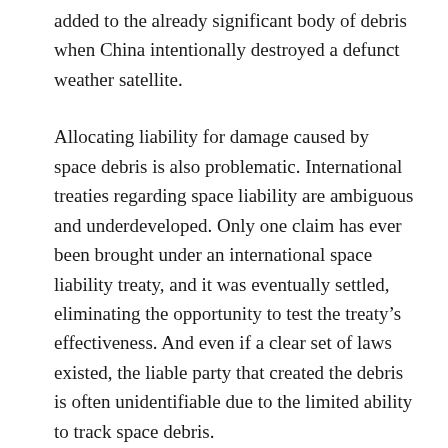added to the already significant body of debris when China intentionally destroyed a defunct weather satellite.
Allocating liability for damage caused by space debris is also problematic. International treaties regarding space liability are ambiguous and underdeveloped. Only one claim has ever been brought under an international space liability treaty, and it was eventually settled, eliminating the opportunity to test the treaty's effectiveness. And even if a clear set of laws existed, the liable party that created the debris is often unidentifiable due to the limited ability to track space debris.
New technology may help solve this identity issue. A new tracking system for space debris, Space Fence